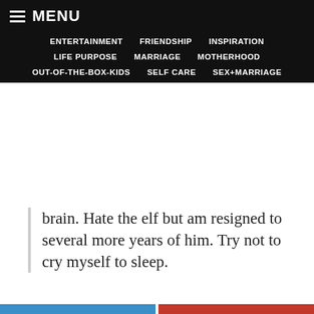MENU
ENTERTAINMENT   FRIENDSHIP   INSPIRATION   LIFE PURPOSE   MARRIAGE   MOTHERHOOD   OUT-OF-THE-BOX-KIDS   SELF CARE   SEX+MARRIAGE
brain. Hate the elf but am resigned to several more years of him. Try not to cry myself to sleep.
Share
[Figure (photo): Circular cropped headshot of a woman with dark hair, looking slightly to the side]
AMBER DITTMAN